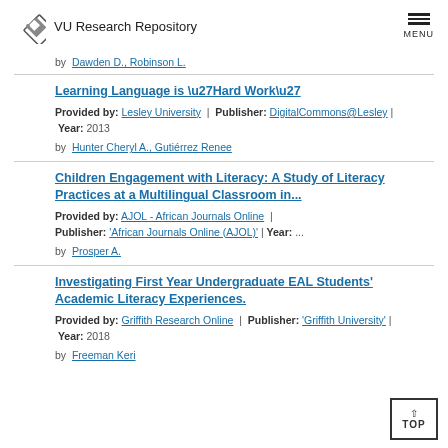VU Research Repository
by  Dawden D., Robinson L.
Learning Language is \u27Hard Work\u27
Provided by: Lesley University | Publisher: DigitalCommons@Lesley | Year: 2013
by Hunter Cheryl A., Gutiérrez Renee
Children Engagement with Literacy: A Study of Literacy Practices at a Multilingual Classroom in...
Provided by: AJOL - African Journals Online | Publisher: 'African Journals Online (AJOL)' | Year: ...
by Prosper A.
Investigating First Year Undergraduate EAL Students' Academic Literacy Experiences.
Provided by: Griffith Research Online | Publisher: 'Griffith University' | Year: 2018
by Freeman Keri